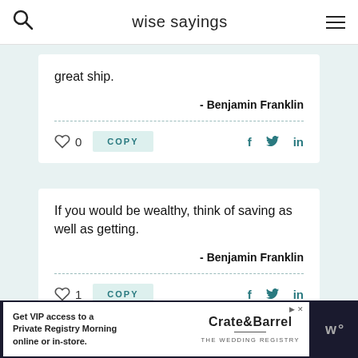wise sayings
great ship.
- Benjamin Franklin
0
COPY
If you would be wealthy, think of saving as well as getting.
- Benjamin Franklin
1
COPY
[Figure (infographic): Ad banner for Crate & Barrel wedding registry: 'Get VIP access to a Private Registry Morning online or in-store.']